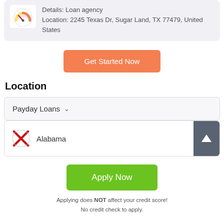Details: Loan agency
Location: 2245 Texas Dr, Sugar Land, TX 77479, United States
Get Started Now
Location
Payday Loans
Alabama
Apply Now
Applying does NOT affect your credit score!
No credit check to apply.